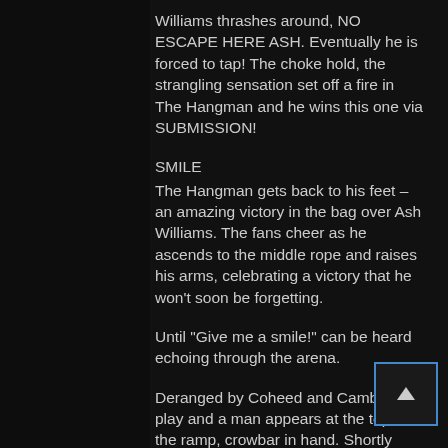Williams thrashes around, NO ESCAPE HERE ASH. Eventually he is forced to tap! The choke hold, the strangling sensation set off a fire in The Hangman and he wins this one via SUBMISSION!
SMILE
The Hangman gets back to his feet – an amazing victory in the bag over Ash Williams. The fans cheer as he ascends to the middle rope and raises his arms, celebrating a victory that he won't soon be forgetting.
Until "Give me a smile!" can be heard echoing through the arena.
Deranged by Coheed and Cambria play and a man appears at the top of the ramp, crowbar in hand. Shortly after, two men accompany him,